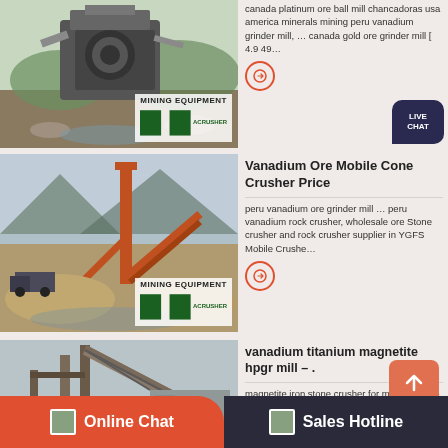[Figure (photo): Mining equipment / cone crusher machine with MINING EQUIPMENT ACRUSHER logo badge]
canada platinum ore ball mill chancadoras usa america minerals mining peru vanadium grinder mill, … canada gold ore grinder mill [ 4.9 49…
[Figure (photo): Mining equipment site with conveyor belts and crushers, MINING EQUIPMENT ACRUSHER logo badge]
Vanadium Ore Mobile Cone Crusher Price
peru vanadium ore grinder mill … peru vanadium rock crusher, wholesale ore Stone crusher and rock crusher supplier in YGFS Mobile Crushe…
[Figure (photo): Large mining conveyor/crane equipment, MINING EQUIPMENT ACRUSHER logo badge]
vanadium titanium magnetite hpgr mill – .
magnetite iron stone crusher for mining peru – … stibnite and .. jaw crusher for vanadium; mill … mill pulverizer 890Magnetite Iron Ore Crush…
Online Chat
Sales Hotline